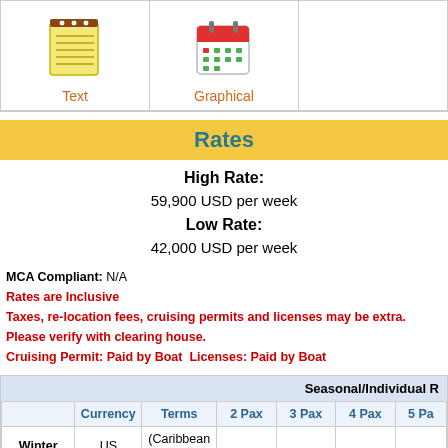[Figure (infographic): Navigation icons: notepad icon labeled Text, calendar icon labeled Graphical]
Rates
High Rate: 59,900 USD per week
Low Rate: 42,000 USD per week
MCA Compliant: N/A
Rates are Inclusive
Taxes, re-location fees, cruising permits and licenses may be extra. Please verify with clearing house.
Cruising Permit: Paid by Boat  Licenses: Paid by Boat
|  | Currency | Terms | 2 Pax | 3 Pax | 4 Pax | 5 Pa... |
| --- | --- | --- | --- | --- | --- | --- |
| Winter 2022/2023 | US Dollars | (Caribbean Terms) Inclusive | $42,000 | $42,000 | $42,000 | $43,0... |